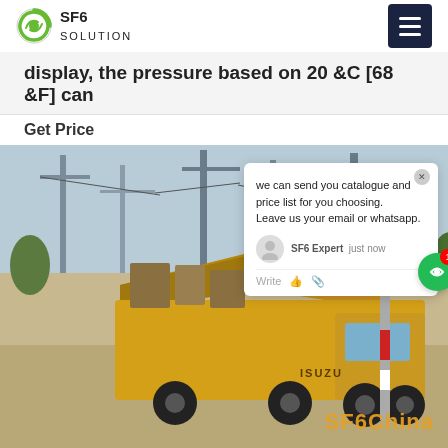SF6 SOLUTION
display, the pressure based on 20 &C [68 &F] can
Get Price
[Figure (photo): Yellow ISUZU truck with SF6 gas handling equipment at an electrical substation, with a chat popup overlay showing 'we can send you catalogue and price list for you choosing. Leave us your email or whatsapp.' and SF6China watermark.]